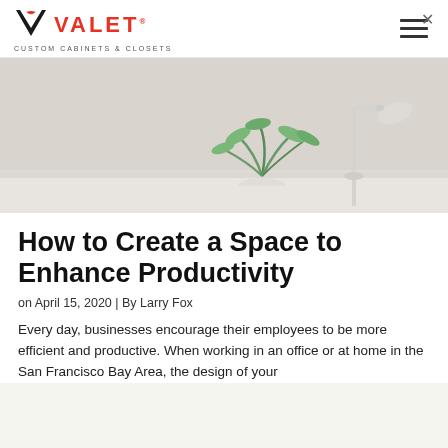[Figure (logo): Valet Custom Cabinets & Closets logo with red bowtie and chevron icon]
[Figure (photo): Minimalist white desk with a potted green plant in a round white pot and a white desk lamp on the right, against a light grey wall]
How to Create a Space to Enhance Productivity
on April 15, 2020 | By Larry Fox
Every day, businesses encourage their employees to be more efficient and productive. When working in an office or at home in the San Francisco Bay Area, the design of your